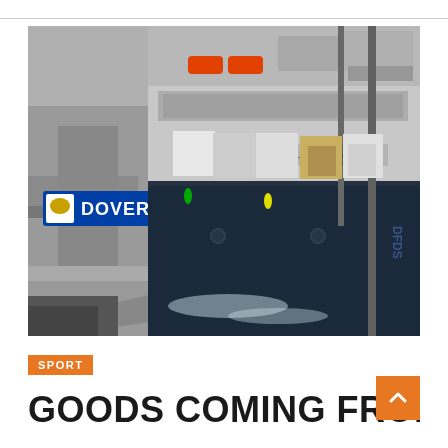[Figure (photo): Aerial or elevated view of a DFDS ferry named 'Delft Seaways' docked at Dover port berth 3, with multiple large semi-trucks and trailers loaded on the vessel deck, grey water visible below, and port infrastructure including walkways and cranes visible.]
SPORT
GOODS COMING FROM O...